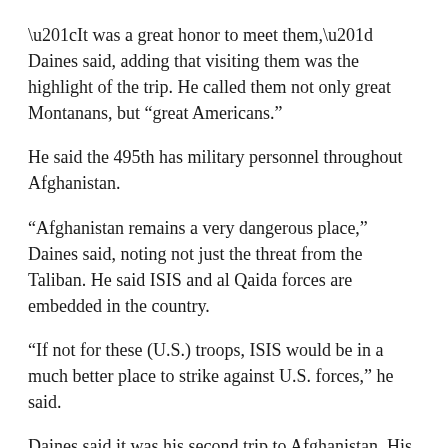“It was a great honor to meet them,” Daines said, adding that visiting them was the highlight of the trip. He called them not only great Montanans, but “great Americans.”
He said the 495th has military personnel throughout Afghanistan.
“Afghanistan remains a very dangerous place,” Daines said, noting not just the threat from the Taliban. He said ISIS and al Qaida forces are embedded in the country.
“If not for these (U.S.) troops, ISIS would be in a much better place to strike against U.S. forces,” he said.
Daines said it was his second trip to Afghanistan. His first was 3 ½ years ago. He said he took a